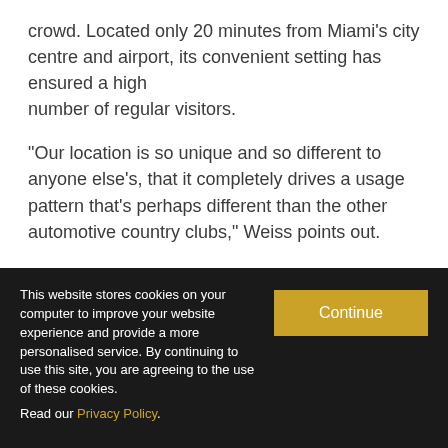crowd. Located only 20 minutes from Miami's city centre and airport, its convenient setting has ensured a high
number of regular visitors.
“Our location is so unique and so different to anyone else’s, that it completely drives a usage pattern that’s perhaps different than the other automotive country clubs,” Weiss points out.
“Nobody else has built something like this 20 minutes from a major urban zone. When it’s a 70 minute drive from an urban zone, there are certainly some aspirational aspects that define it experience. ButGenthner and Weiss are optimistic it can be part of your daily
This website stores cookies on your computer to improve your website experience and provide a more personalised service. By continuing to use this site, you are agreeing to the use of these cookies.

Read our Privacy Policy.